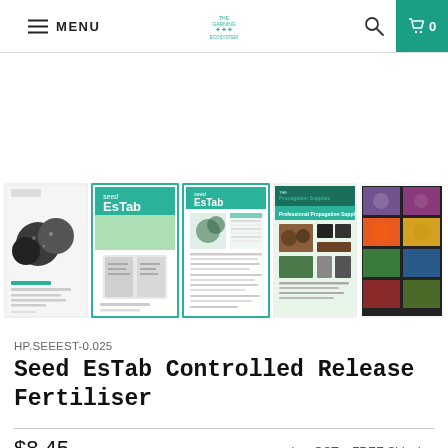MENU | [logo] | [search] | 0
[Figure (screenshot): Strip of 5 product thumbnail images for Seed EsTab Controlled Release Fertiliser. First: product packaging with seeds; Second (selected, green border): EsTab brochure with green header; Third (selected, green border): EsTab product sheet; Fourth: Propagation Supplies catalog cover; Fifth: colorful plant/flower grid image.]
HP.SEEEST-0.025
Seed EsTab Controlled Release Fertiliser
$8.45
Inc. GST + FREE Shipping